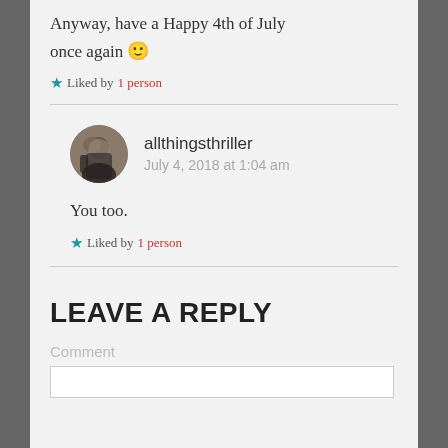Anyway, have a Happy 4th of July once again 🙂
Liked by 1 person
allthingsthriller
July 4, 2018 at 1:04 am
You too.
Liked by 1 person
LEAVE A REPLY
Comment